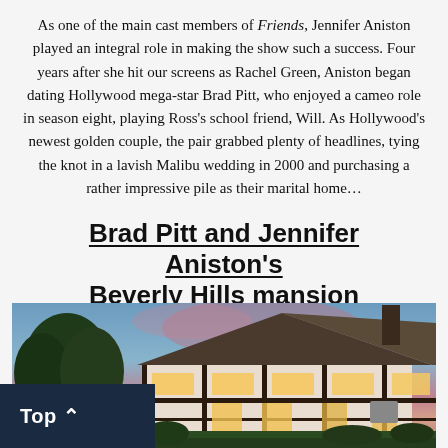As one of the main cast members of Friends, Jennifer Aniston played an integral role in making the show such a success. Four years after she hit our screens as Rachel Green, Aniston began dating Hollywood mega-star Brad Pitt, who enjoyed a cameo role in season eight, playing Ross's school friend, Will. As Hollywood's newest golden couple, the pair grabbed plenty of headlines, tying the knot in a lavish Malibu wedding in 2000 and purchasing a rather impressive pile as their marital home...
Brad Pitt and Jennifer Aniston's Beverly Hills mansion
[Figure (photo): Exterior photo of a large Tudor-style Beverly Hills mansion at dusk, with warm lights glowing from windows, trees in foreground, and a pink-blue sky in background.]